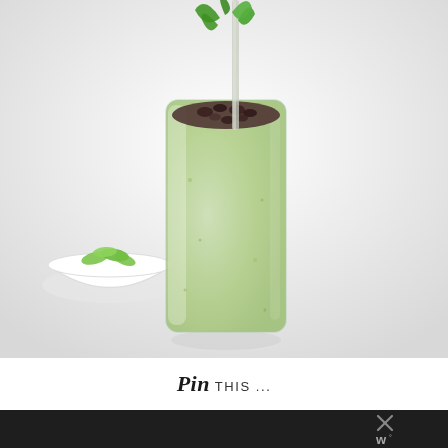[Figure (photo): A tall glass filled with a pale green smoothie topped with chocolate chips and fresh mint leaves, with a straw. A small white bowl with green leaves is in the background. White/light background.]
Pin THIS ...
[Figure (logo): Dark footer bar with an X icon and a stylized W degree symbol (w°) in the bottom right corner]